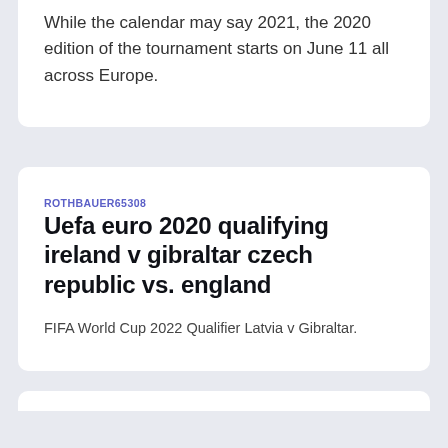While the calendar may say 2021, the 2020 edition of the tournament starts on June 11 all across Europe.
ROTHBAUER65308
Uefa euro 2020 qualifying ireland v gibraltar czech republic vs. england
FIFA World Cup 2022 Qualifier Latvia v Gibraltar.